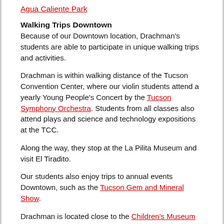Agua Caliente Park
Walking Trips Downtown
Because of our Downtown location, Drachman's students are able to participate in unique walking trips and activities.
Drachman is within walking distance of the Tucson Convention Center, where our violin students attend a yearly Young People's Concert by the Tucson Symphony Orchestra. Students from all classes also attend plays and science and technology expositions at the TCC.
Along the way, they stop at the La Pilita Museum and visit El Tiradito.
Our students also enjoy trips to annual events Downtown, such as the Tucson Gem and Mineral Show.
Drachman is located close to the Children's Museum Tucson, the new Tucson Fire Department's Headquarters and Pima County Public Library's Main and Santa Rosa branches.